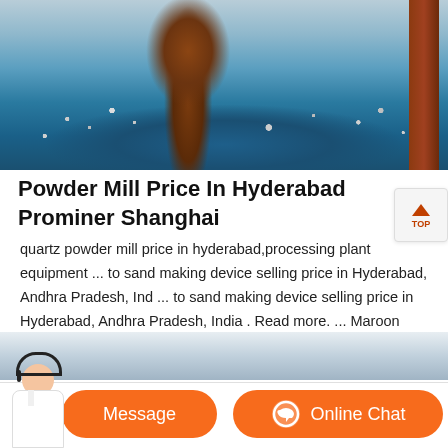[Figure (photo): Industrial gravel/stone processing machine with blue metal hopper containing small rocks and a rust-colored metal shaft/pipe, with rusty metal frame visible on right]
Powder Mill Price In Hyderabad Prominer Shanghai
quartz powder mill price in hyderabad,processing plant equipment ... to sand making device selling price in Hyderabad, Andhra Pradesh, India ... to sand making device selling price in Hyderabad, Andhra Pradesh, India . Read more. ... Maroon Kumkum Powder offered by SV Flour Mill is available with multiple payment options and easy delivery ...
[Figure (photo): Partial view of an industrial scene with overcast sky, bottom portion of page showing a customer service chat bar with agent photo, Message button and Online Chat button]
Message
Online Chat